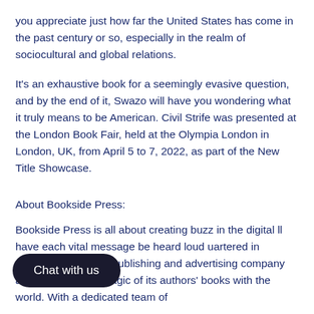you appreciate just how far the United States has come in the past century or so, especially in the realm of sociocultural and global relations.
It's an exhaustive book for a seemingly evasive question, and by the end of it, Swazo will have you wondering what it truly means to be American. Civil Strife was presented at the London Book Fair, held at the Olympia London in London, UK, from April 5 to 7, 2022, as part of the New Title Showcase.
About Bookside Press:
Bookside Press is all about creating buzz in the digital ll have each vital message be heard loud uartered in Canada, this hybrid publishing and advertising company aims to share the magic of its authors' books with the world. With a dedicated team of